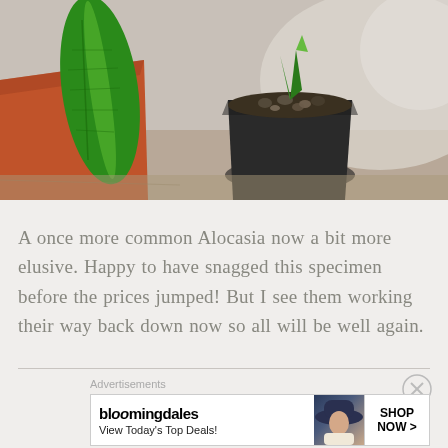[Figure (photo): Photo of two potted plants on a wooden surface: a terracotta/orange pot on the left with a large green patterned leaf, and a black plastic pot on the right with a small plant sprouting]
A once more common Alocasia now a bit more elusive. Happy to have snagged this specimen before the prices jumped! But I see them working their way back down now so all will be well again.
[Figure (screenshot): Bloomingdale's advertisement banner: logo 'bloomingdales' with tagline 'View Today's Top Deals!' and a woman in a wide-brim hat, with 'SHOP NOW >' button]